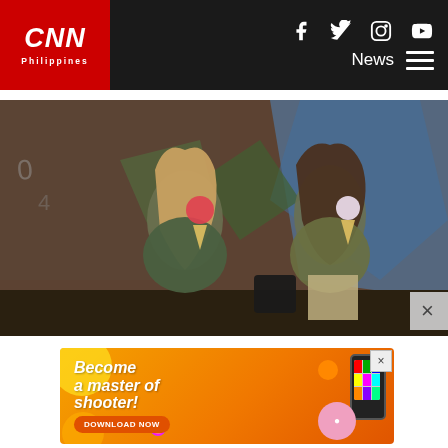CNN Philippines — Navigation bar with CNN Philippines logo, social icons (Facebook, Twitter, Instagram, YouTube), News menu
[Figure (photo): Two young women sitting against a graffiti-covered brick wall at night. The woman on the left has long blonde hair and wears a green jacket, holding an ice cream cone. The woman on the right has curly dark hair and wears a camo jacket with leopard-print pants, also holding food. A black handbag sits between them. A close (X) button appears in the lower right.]
[Figure (infographic): Advertisement banner with orange gradient background. Text reads 'Become a master of shooter!' with a 'DOWNLOAD NOW' button. Features decorative circles, a smartphone, and a pink star character. An X close button is in the upper right corner.]